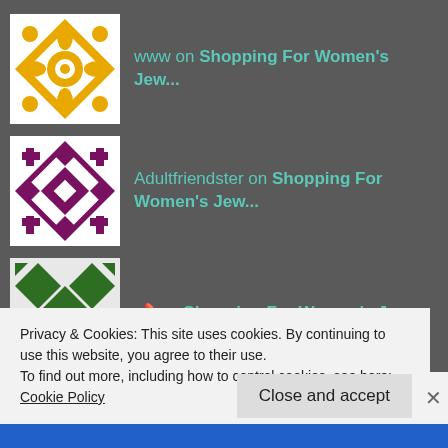www on Shopping For Women's Jew...
Adultfriendster on Shopping For Women's Jew...
?? on Shopping For Women's Jew...
rencontres seniors g... on Shopping For Women's Jew...
cara menggugurkan Ka... on Shopping For Women's Jew...
cara menggugurkan ka... on Caravanila Luxury Rentals
Privacy & Cookies: This site uses cookies. By continuing to use this website, you agree to their use.
To find out more, including how to control cookies, see here: Cookie Policy
Close and accept